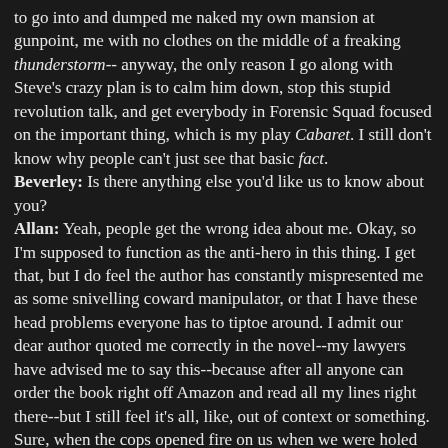to go into and dumped me naked my own mansion at gunpoint, me with no clothes on the middle of a freaking thunderstorm-- anyway, the only reason I go along with Steve's crazy plan is to calm him down, stop this stupid revolution talk, and get everybody in Forensic Squad focused on the important thing, which is my play Cabaret. I still don't know why people can't just see that basic fact. Beverley: Is there anything else you'd like us to know about you? Allan: Yeah, people get the wrong idea about me. Okay, so I'm supposed to function as the anti-hero in this thing. I get that, but I do feel the author has constantly mispresented me as some snivelling coward manipulator, or that I have these head problems everyone has to tiptoe around. I admit our dear author quoted me correctly in the novel--my lawyers have advised me to say this--because after all anyone can order the book right off Amazon and read all my lines right there--but I still feel it's all, like, out of context or something. Sure, when the cops opened fire on us when we were holed up in the farmhouse, that was stressful, but really, to make me out to be such a coward about it? C'mon, I have leadership talents, I wouldn't really start freaking out like that, would I? So my lawyers are talking to the author right now. He's resisting writing any sort of sequel to CommWealth, but we just